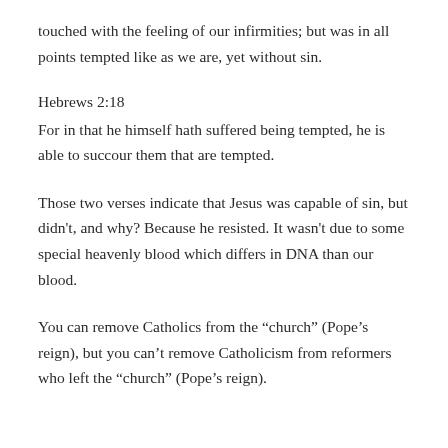touched with the feeling of our infirmities; but was in all points tempted like as we are, yet without sin.
Hebrews 2:18
For in that he himself hath suffered being tempted, he is able to succour them that are tempted.
Those two verses indicate that Jesus was capable of sin, but didn’t, and why? Because he resisted. It wasn’t due to some special heavenly blood which differs in DNA than our blood.
You can remove Catholics from the “church” (Pope’s reign), but you can’t remove Catholicism from reformers who left the “church” (Pope’s reign).